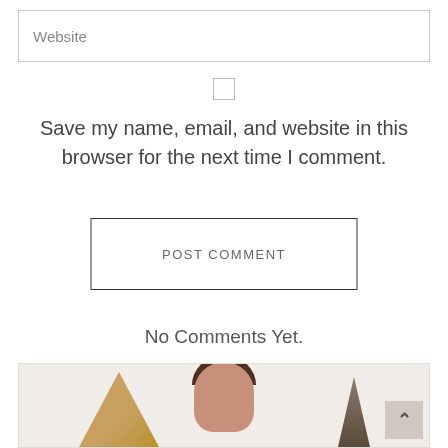Website
Save my name, email, and website in this browser for the next time I comment.
POST COMMENT
No Comments Yet.
[Figure (photo): Partial view of a person's photo with decorative golden/dark shapes, shown at bottom of page, cropped]